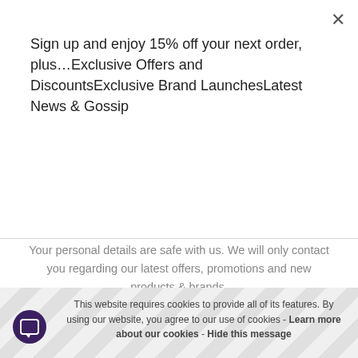Sign up and enjoy 15% off your next order, plus…Exclusive Offers and DiscountsExclusive Brand LaunchesLatest News & Gossip
[Figure (other): Purple Subscribe button]
Your personal details are safe with us. We will only contact you regarding our latest offers, promotions and new products & brands.
For more information please see our Privacy Notice
This website requires cookies to provide all of its features. By using our website, you agree to our use of cookies - Learn more about our cookies - Hide this message